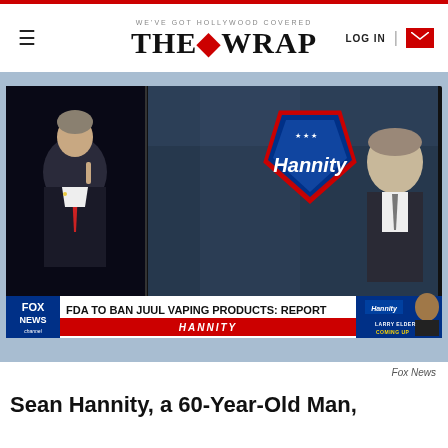WE'VE GOT HOLLYWOOD COVERED — THE WRAP — LOG IN
[Figure (screenshot): Fox News Hannity TV screenshot showing two men split-screen with chyron reading 'FDA TO BAN JUUL VAPING PRODUCTS: REPORT' and 'HANNITY' lower third, with Larry Elder promo box]
Fox News
Sean Hannity, a 60-Year-Old Man,